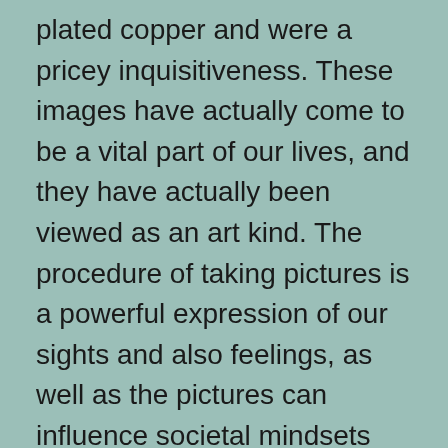plated copper and were a pricey inquisitiveness. These images have actually come to be a vital part of our lives, and they have actually been viewed as an art kind. The procedure of taking pictures is a powerful expression of our sights and also feelings, as well as the pictures can influence societal mindsets and habits. So, if you have the interest, you ought to consider making your job in photography. national park posters vintage
There are many sorts of digital photography, both professional and amateur. Making use of photography differs from one person to an